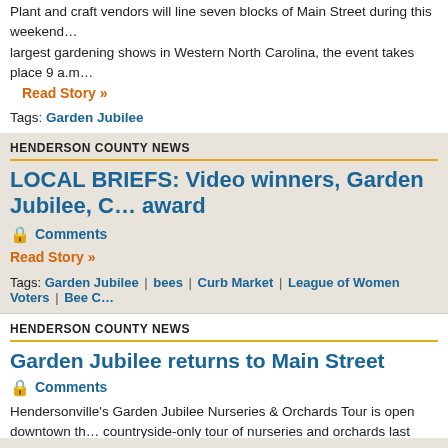Plant and craft vendors will line seven blocks of Main Street during this weekend… largest gardening shows in Western North Carolina, the event takes place 9 a.m…
Read Story »
Tags: Garden Jubilee
HENDERSON COUNTY NEWS
LOCAL BRIEFS: Video winners, Garden Jubilee, C… award
🔒 Comments
Read Story »
Tags: Garden Jubilee | bees | Curb Market | League of Women Voters | Bee C…
HENDERSON COUNTY NEWS
Garden Jubilee returns to Main Street
🔒 Comments
Hendersonville's Garden Jubilee Nurseries & Orchards Tour is open downtown th… countryside-only tour of nurseries and orchards last year due to the pandemic.
Tags: Garden Jubilee